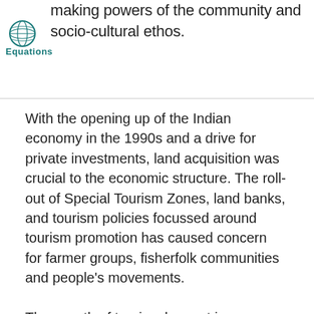livelihood, access to resources, decision-making powers of the community and socio-cultural ethos.
[Figure (logo): Equations organization logo - globe icon with 'Equations' text in teal]
With the opening up of the Indian economy in the 1990s and a drive for private investments, land acquisition was crucial to the economic structure. The roll-out of Special Tourism Zones, land banks, and tourism policies focussed around tourism promotion has caused concern for farmer groups, fisherfolk communities and people’s movements.
The growth of tourism has put immense pressure on land needs and areas are increasingly acquired to accommodate for the tourism industry. The intensity of protests against displacement underway in various